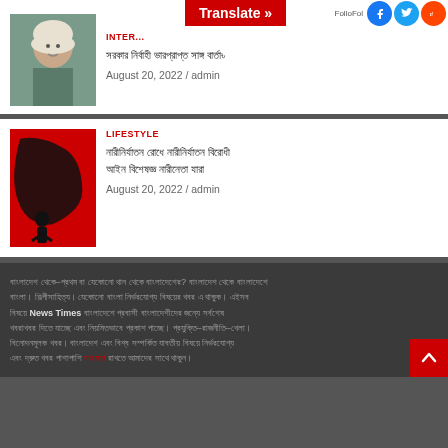[Figure (screenshot): Translate button overlay banner in red with white text 'Translate »', social media icons for Facebook, Twitter, Reddit on top right]
[Figure (photo): Portrait photo of elderly woman wearing glasses and white headscarf, resting chin on hand]
INTER...
Bengali headline text - August 20, 2022 / admin
[Figure (illustration): Red background with black silhouette illustration - person being grabbed]
LIFESTYLE
Bengali headline text - August 20, 2022 / admin
Bengali footer text block mentioning News Times